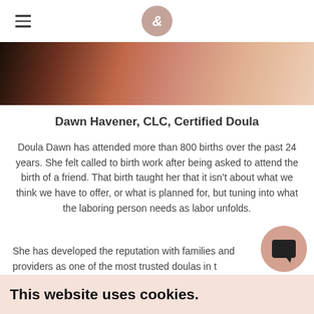Navigation header with hamburger menu and circular logo
[Figure (photo): Close-up photo strip of fabric or textile with pink, brown, and beige tones]
Dawn Havener, CLC, Certified Doula
Doula Dawn has attended more than 800 births over the past 24 years. She felt called to birth work after being asked to attend the birth of a friend. That birth taught her that it isn’t about what we think we have to offer, or what is planned for, but tuning into what the laboring person needs as labor unfolds.
She has developed the reputation with families and providers as one of the most trusted doulas in t…
This website uses cookies.
[Figure (illustration): Chat widget icon: pink circle with dark speech bubble]